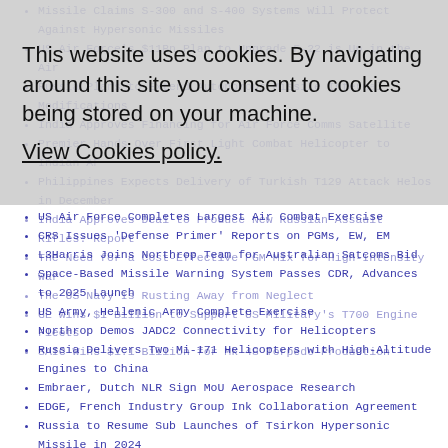Missile Claims S-300 and S-400 Systems Will Protect Against Hypersonic Missiles
US Air Force's $11Bn Plan to Upgrade F-22 is Up in the Air
Russia Plans to Extend Autonomous Missile Internal Modifications
India Approves Financing for Air Force Comms Satellite
Premier Hands Over First Light Combat Helicopter to Indian AF
Philippines Expects Delivery of Turkish T129 Attack Helos in December
India Approves Deal to Produce New Russian Assault Rifles: Report
The Need for a Cost-Effective PGM Mix for High-Intensity War
The US Navy Is Rusting Away from Neglect
GE Wins $1 Billion to Support US Military's T700 Engine Fleets
SAIC Wins $1.1 Billion for Mk 48 Torpedo Production
This website uses cookies. By navigating around this site you consent to cookies being stored on your machine. View Cookies policy.
US Air Force Completes Largest Air Combat Exercise
CRS Issues 'Defense Primer' Reports on PGMs, EW, EM
L3Harris Joins Northrop Team for Australian Satcoms Bid
Space-Based Missile Warning System Passes CDR, Advances to 2025 Launch
US Army, Hellenic Army Complete Exercise
Northrop Demos JADC2 Connectivity for Helicopters
Russia Delivers Two Mi-171 Helicopters with High-Altitude Engines to China
Embraer, Dutch NLR Sign MoU Aerospace Research
EDGE, French Industry Group Ink Collaboration Agreement
Russia to Resume Sub Launches of Tsirkon Hypersonic Missile in 2024
China Tests Latest Z-8L Transport Helicopters in Air Assault Missions
Could Germany's Next Government Throw Out US Nuclear Bombs?
Paris Investigates Leak That Egypt Misused French Intelligence
Boeing Buyers' Ire Builds As 787 Disruptions Pass 13-Month Mark
Russia to Wrap Up Trials of New Armata Tank Next Year
Russia to Launch Series Production of Upgraded M-26T2V Helicopter in 2022